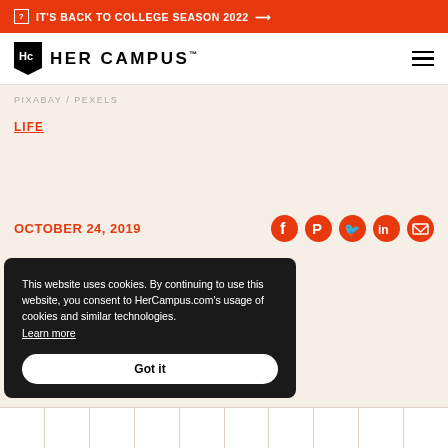IT'S BACK TO COLLEGE SEASON 2022 →
[Figure (logo): Her Campus logo with Hc monogram in black pentagon and HER CAMPUS text]
PIXABAY / PEXELS
LIFE
OCTOBER 24, 2019
[Figure (infographic): Social share icons: Facebook, Pinterest, Twitter, LinkedIn, Email]
This website uses cookies. By continuing to use this website, you consent to HerCampus.com's usage of cookies and similar technologies. Learn more
Got it